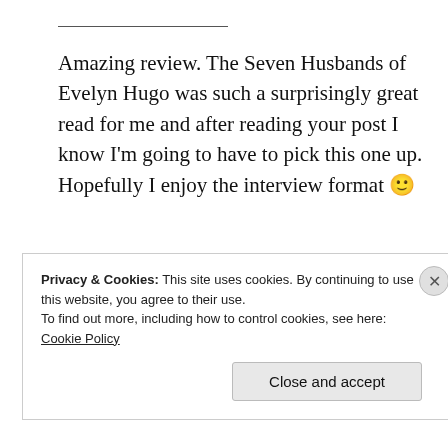Amazing review. The Seven Husbands of Evelyn Hugo was such a surprisingly great read for me and after reading your post I know I'm going to have to pick this one up. Hopefully I enjoy the interview format 🙂
★ Liked by 1 person
Privacy & Cookies: This site uses cookies. By continuing to use this website, you agree to their use. To find out more, including how to control cookies, see here: Cookie Policy